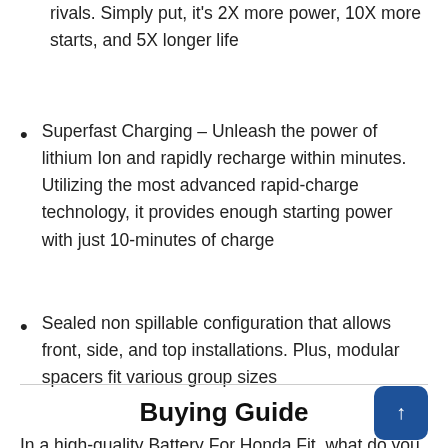rivals. Simply put, it's 2X more power, 10X more starts, and 5X longer life
Superfast Charging – Unleash the power of lithium Ion and rapidly recharge within minutes. Utilizing the most advanced rapid-charge technology, it provides enough starting power with just 10-minutes of charge
Sealed non spillable configuration that allows front, side, and top installations. Plus, modular spacers fit various group sizes
Buying Guide
In a high-quality Battery For Honda Fit, what do you